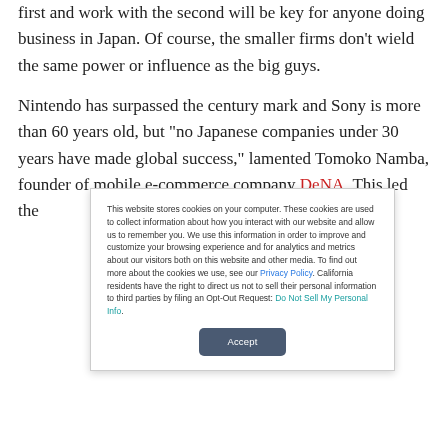first and work with the second will be key for anyone doing business in Japan. Of course, the smaller firms don't wield the same power or influence as the big guys.
Nintendo has surpassed the century mark and Sony is more than 60 years old, but "no Japanese companies under 30 years have made global success," lamented Tomoko Namba, founder of mobile e-commerce company DeNA. This led the
This website stores cookies on your computer. These cookies are used to collect information about how you interact with our website and allow us to remember you. We use this information in order to improve and customize your browsing experience and for analytics and metrics about our visitors both on this website and other media. To find out more about the cookies we use, see our Privacy Policy. California residents have the right to direct us not to sell their personal information to third parties by filing an Opt-Out Request: Do Not Sell My Personal Info.
Accept